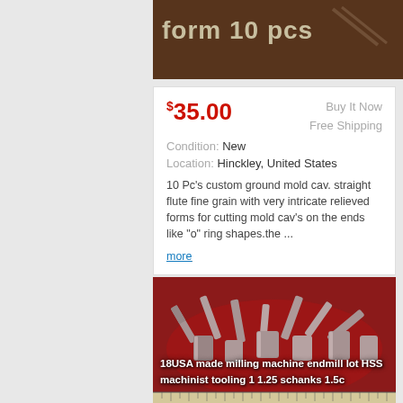[Figure (photo): Dark brown background image strip showing tools, with text 'form 10 pcs' overlaid]
form 10 pcs
$35.00
Buy It Now
Free Shipping
Condition: New
Location: Hinckley, United States
10 Pc's custom ground mold cav. straight flute fine grain with very intricate relieved forms for cutting mold cav's on the ends like "o" ring shapes.the ...
more
[Figure (photo): Photo of 18 USA made milling machine endmill lot HSS machinist tooling on a red tray, with text overlay '18USA made milling machine endmill lot HSS machinist tooling 1 1.25 schanks 1.5c']